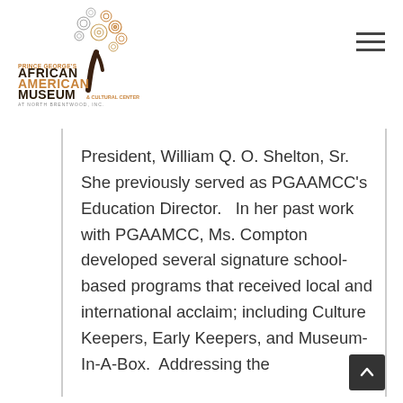[Figure (logo): Prince George's African American Museum & Cultural Center at North Brentwood logo with decorative tree illustration]
President, William Q. O. Shelton, Sr. She previously served as PGAAMCC's Education Director.   In her past work with PGAAMCC, Ms. Compton developed several signature school-based programs that received local and international acclaim; including Culture Keepers, Early Keepers, and Museum-In-A-Box.  Addressing the